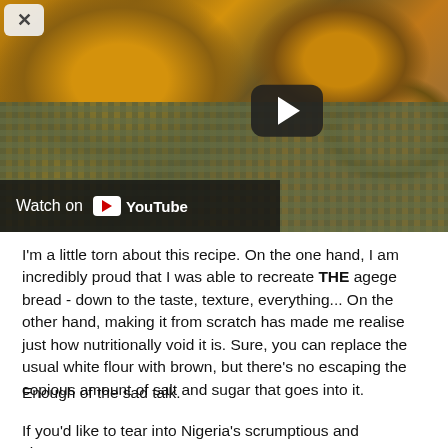[Figure (screenshot): YouTube video thumbnail showing agege bread on a cloth, with a play button overlay and 'Watch on YouTube' bar at the bottom left.]
I'm a little torn about this recipe. On the one hand, I am incredibly proud that I was able to recreate THE agege bread - down to the taste, texture, everything... On the other hand, making it from scratch has made me realise just how nutritionally void it is. Sure, you can replace the usual white flour with brown, but there's no escaping the copious amount of salt and sugar that goes into it.
Enough of the sad talk.
If you'd like to tear into Nigeria's scrumptious and signature